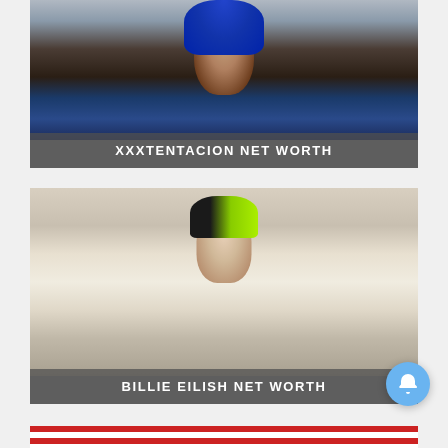[Figure (photo): Photo of XXXTentacion with blue dreadlocks and face tattoos, wearing a denim jacket]
XXXTENTACION NET WORTH
[Figure (photo): Photo of Billie Eilish with green and black hair, wearing a white Chanel jacket, hands raised showing black nail extensions]
BILLIE EILISH NET WORTH
[Figure (photo): Partial view of a photo with an American flag visible at the bottom of the page]